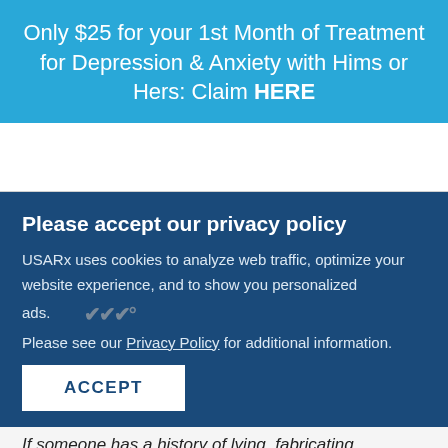Only $25 for your 1st Month of Treatment for Depression & Anxiety with Hims or Hers: Claim HERE
Please accept our privacy policy
USARx uses cookies to analyze web traffic, optimize your website experience, and to show you personalized ads. Please see our Privacy Policy for additional information.
ACCEPT
If someone has a history of lying, fabricating sto...
SHE CAN STEM